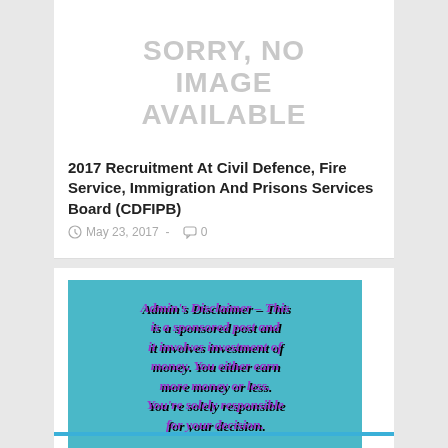[Figure (other): Sorry, No Image Available placeholder graphic]
2017 Recruitment At Civil Defence, Fire Service, Immigration And Prisons Services Board (CDFIPB)
May 23, 2017 - 0
[Figure (other): Admin's Disclaimer – This is a sponsored post and it involves investment of money. You either earn more money or less. You're solely responsible for your decision.]
Best Networking Platform 2017
May 08, 2017 - 0